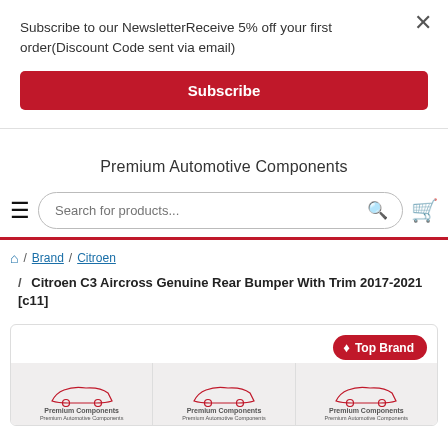Subscribe to our NewsletterReceive 5% off your first order(Discount Code sent via email)
Subscribe
Premium Automotive Components
Search for products...
Brand / Citroen / Citroen C3 Aircross Genuine Rear Bumper With Trim 2017-2021 [c11]
[Figure (screenshot): Product card with Top Brand badge and three car outline placeholder images labeled Premium Components / Premium Automotive Components]